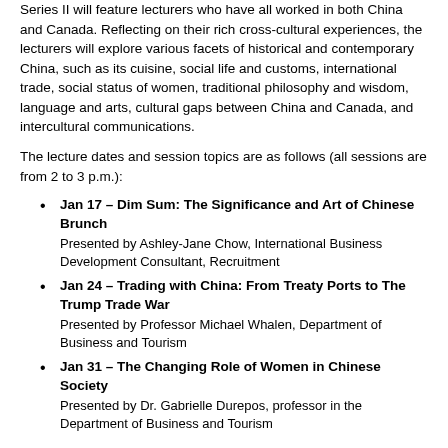Series II will feature lecturers who have all worked in both China and Canada. Reflecting on their rich cross-cultural experiences, the lecturers will explore various facets of historical and contemporary China, such as its cuisine, social life and customs, international trade, social status of women, traditional philosophy and wisdom, language and arts, cultural gaps between China and Canada, and intercultural communications.
The lecture dates and session topics are as follows (all sessions are from 2 to 3 p.m.):
Jan 17 – Dim Sum: The Significance and Art of Chinese Brunch
Presented by Ashley-Jane Chow, International Business Development Consultant, Recruitment
Jan 24 – Trading with China: From Treaty Ports to The Trump Trade War
Presented by Professor Michael Whalen, Department of Business and Tourism
Jan 31 – The Changing Role of Women in Chinese Society
Presented by Dr. Gabrielle Durepos, professor in the Department of Business and Tourism